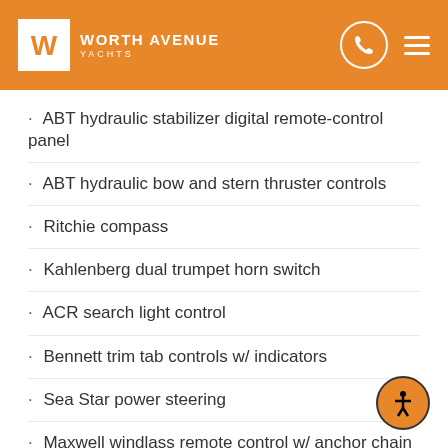Worth Avenue Yachts
ABT hydraulic stabilizer digital remote-control panel
ABT hydraulic bow and stern thruster controls
Ritchie compass
Kahlenberg dual trumpet horn switch
ACR search light control
Bennett trim tab controls w/ indicators
Sea Star power steering
Maxwell windlass remote control w/ anchor chain